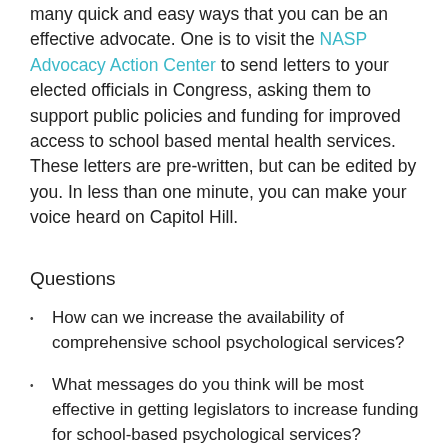many quick and easy ways that you can be an effective advocate. One is to visit the NASP Advocacy Action Center to send letters to your elected officials in Congress, asking them to support public policies and funding for improved access to school based mental health services. These letters are pre-written, but can be edited by you. In less than one minute, you can make your voice heard on Capitol Hill.
Questions
How can we increase the availability of comprehensive school psychological services?
What messages do you think will be most effective in getting legislators to increase funding for school-based psychological services?